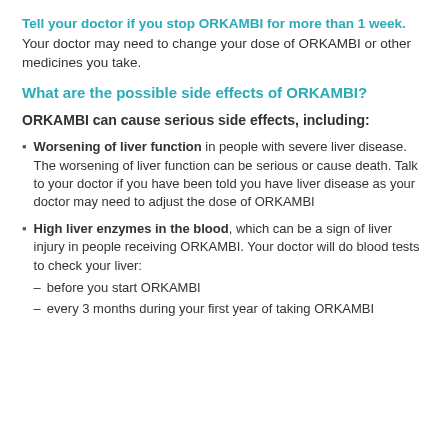Tell your doctor if you stop ORKAMBI for more than 1 week. Your doctor may need to change your dose of ORKAMBI or other medicines you take.
What are the possible side effects of ORKAMBI?
ORKAMBI can cause serious side effects, including:
Worsening of liver function in people with severe liver disease. The worsening of liver function can be serious or cause death. Talk to your doctor if you have been told you have liver disease as your doctor may need to adjust the dose of ORKAMBI
High liver enzymes in the blood, which can be a sign of liver injury in people receiving ORKAMBI. Your doctor will do blood tests to check your liver: before you start ORKAMBI; every 3 months during your first year of taking ORKAMBI